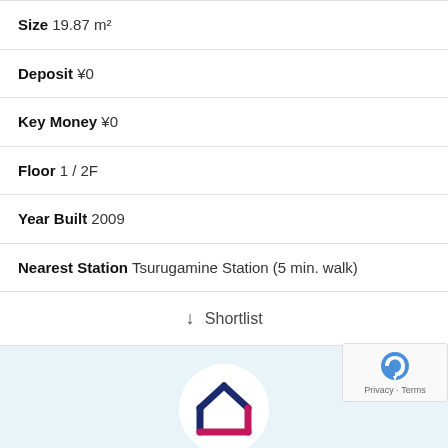Size 19.87 m²
Deposit ¥0
Key Money ¥0
Floor 1 / 2F
Year Built 2009
Nearest Station Tsurugamine Station (5 min. walk)
↓ Shortlist
[Figure (logo): J-HOMES logo: house icon made of angular lines in dark blue and crimson/pink on white circle background, with J-HOMES text in orange below]
[Figure (photo): Bottom portion of a building exterior photo, light blue sky visible]